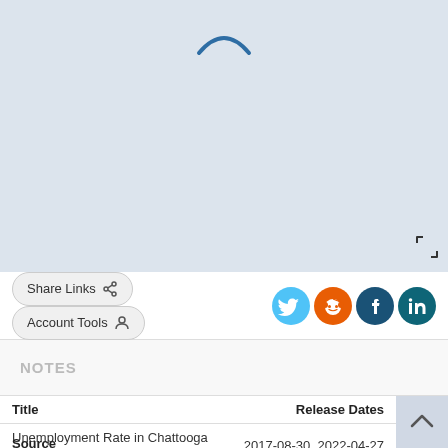[Figure (map): Light blue-gray map area with a loading spinner arc at the top center and a fullscreen icon at the bottom right corner.]
Share Links  Account Tools
NOTES
| Title | Release Dates |
| --- | --- |
| Unemployment Rate in Chattooga County, GA | 2017-08-30  2022-04-27 |
Source